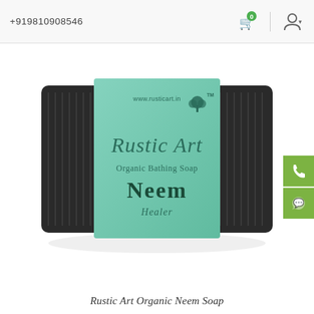+919810908546
[Figure (photo): Photo of a Rustic Art Organic Bathing Soap - Neem Healer bar, wrapped in dark charcoal-colored textured fabric/cloth on the sides and a teal/mint green label in the center showing 'www.rusticart.in', a tree logo with TM, 'Rustic Art', 'Organic Bathing Soap', 'Neem', 'Healer']
Rustic Art Organic Neem Soap